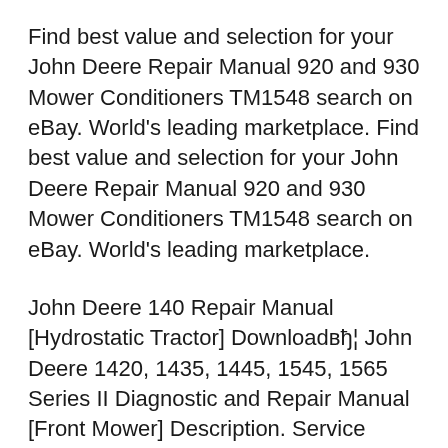Find best value and selection for your John Deere Repair Manual 920 and 930 Mower Conditioners TM1548 search on eBay. World's leading marketplace. Find best value and selection for your John Deere Repair Manual 920 and 930 Mower Conditioners TM1548 search on eBay. World's leading marketplace.
John Deere 140 Repair Manual [Hydrostatic Tractor] Download… John Deere 1420, 1435, 1445, 1545, 1565 Series II Diagnostic and Repair Manual [Front Mower] Description. Service Repair Manual For John Deere 425 445 455. Detailed Step by Step Instructions, diagrams, illustrations, specifications for servicing and...